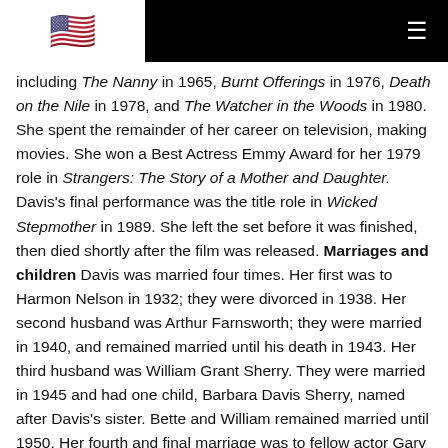[US Flag] [Navigation menu icon]
including The Nanny in 1965, Burnt Offerings in 1976, Death on the Nile in 1978, and The Watcher in the Woods in 1980. She spent the remainder of her career on television, making movies. She won a Best Actress Emmy Award for her 1979 role in Strangers: The Story of a Mother and Daughter. Davis's final performance was the title role in Wicked Stepmother in 1989. She left the set before it was finished, then died shortly after the film was released. Marriages and children Davis was married four times. Her first was to Harmon Nelson in 1932; they were divorced in 1938. Her second husband was Arthur Farnsworth; they were married in 1940, and remained married until his death in 1943. Her third husband was William Grant Sherry. They were married in 1945 and had one child, Barbara Davis Sherry, named after Davis's sister. Bette and William remained married until 1950. Her fourth and final marriage was to fellow actor Gary Merrill in 1950. They adopted two children: Margot, who was institutionalized because of a brain injury, and Michael. The couple divorced in 1960. A death and